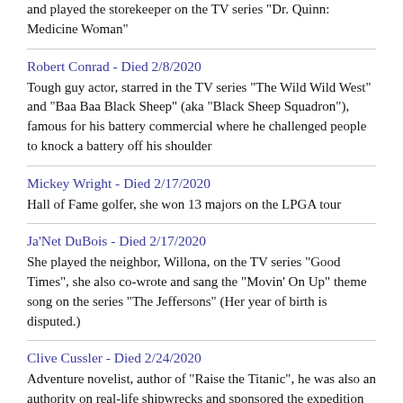and played the storekeeper on the TV series "Dr. Quinn: Medicine Woman"
Robert Conrad - Died 2/8/2020
Tough guy actor, starred in the TV series "The Wild Wild West" and "Baa Baa Black Sheep" (aka "Black Sheep Squadron"), famous for his battery commercial where he challenged people to knock a battery off his shoulder
Mickey Wright - Died 2/17/2020
Hall of Fame golfer, she won 13 majors on the LPGA tour
Ja'Net DuBois - Died 2/17/2020
She played the neighbor, Willona, on the TV series "Good Times", she also co-wrote and sang the "Movin' On Up" theme song on the series "The Jeffersons" (Her year of birth is disputed.)
Clive Cussler - Died 2/24/2020
Adventure novelist, author of "Raise the Titanic", he was also an authority on real-life shipwrecks and sponsored the expedition that discovered the wreck of the Confederate submarine Hunley
Henri Mahoza - Died 2/25/2020